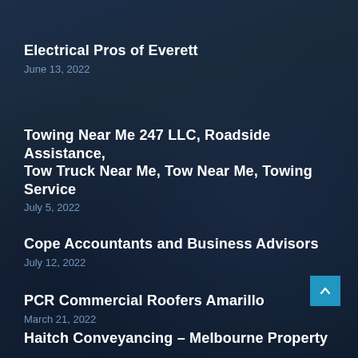Electrical Pros of Everett
June 13, 2022
Towing Near Me 247 LLC, Roadside Assistance, Tow Truck Near Me, Tow Near Me, Towing Service
July 5, 2022
Cope Accountants and Business Advisors
July 12, 2022
PCR Commercial Roofers Amarillo
March 21, 2022
Haitch Conveyancing – Melbourne Property...